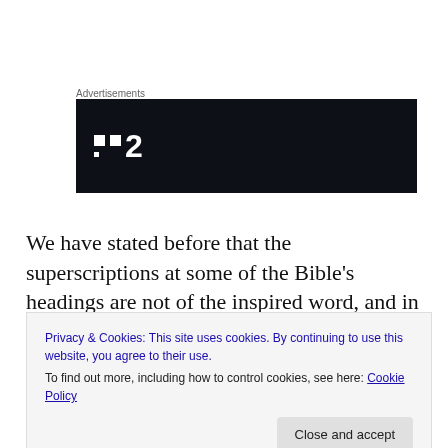[Figure (logo): Advertisements label above a dark navy/black banner with a logo consisting of two white squares and the number 2 in white text]
We have stated before that the superscriptions at some of the Bible's headings are not of the inspired word, and in many cases their application can be considered dubious.
Privacy & Cookies: This site uses cookies. By continuing to use this website, you agree to their use.
To find out more, including how to control cookies, see here: Cookie Policy
Close and accept
worship, and is probably the same one that is mentioned